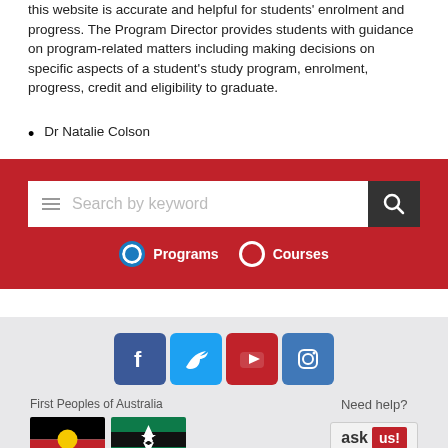this website is accurate and helpful for students' enrolment and progress. The Program Director provides students with guidance on program-related matters including making decisions on specific aspects of a student's study program, enrolment, progress, credit and eligibility to graduate.
Dr Natalie Colson
[Figure (screenshot): Red search bar with hamburger menu icon, keyword search field, search button, and radio buttons for Programs and Courses]
[Figure (infographic): Footer with social media icons (Facebook, Twitter, YouTube, Instagram), First Peoples of Australia flags (Aboriginal and Torres Strait Islander), Need help? Ask Us button, Gold Coast, Logan, Brisbane, Australia location text, and links for Privacy plan, Copyright matters, CRICOS Provider - 00233E]